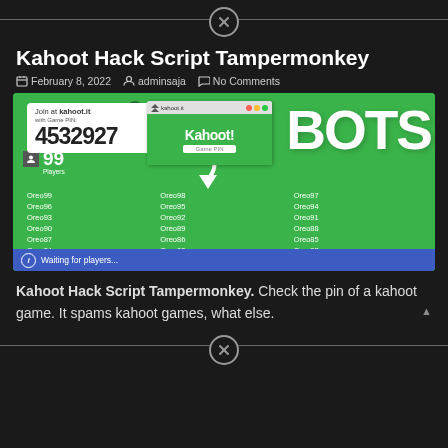⊗
Kahoot Hack Script Tampermonkey
February 8, 2022  adminsaja  No Comments
[Figure (screenshot): Kahoot game screen showing 99 players joined with bot names (Oreo99 through Oreo79), game PIN 4532927, with BOTS text overlay and waiting for players bar]
Kahoot Hack Script Tampermonkey. Check the pin of a kahoot game. It spams kahoot games, what else.
⊗